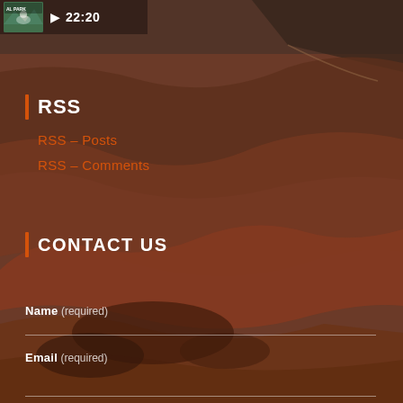[Figure (screenshot): Video thumbnail with play button and timestamp 22:20 overlaid on red-brown desert terrain landscape background]
RSS
RSS – Posts
RSS – Comments
CONTACT US
Name (required)
Email (required)